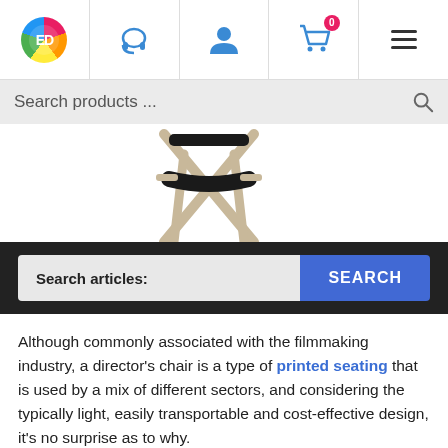[Figure (screenshot): Website navigation bar with logo, headset icon, user icon, shopping cart with 0 badge, and hamburger menu icon]
Search products ...
[Figure (photo): Partial image of a wooden director's chair with black fabric seat and back, on white background]
Search articles:
SEARCH
Although commonly associated with the filmmaking industry, a director’s chair is a type of printed seating that is used by a mix of different sectors, and considering the typically light, easily transportable and cost-effective design, it’s no surprise as to why.
Directors’ chairs are suitable for crew members during